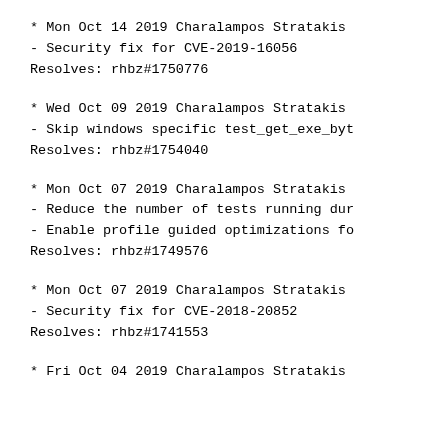* Mon Oct 14 2019 Charalampos Stratakis
- Security fix for CVE-2019-16056
Resolves: rhbz#1750776
* Wed Oct 09 2019 Charalampos Stratakis
- Skip windows specific test_get_exe_byt
Resolves: rhbz#1754040
* Mon Oct 07 2019 Charalampos Stratakis
- Reduce the number of tests running dur
- Enable profile guided optimizations fo
Resolves: rhbz#1749576
* Mon Oct 07 2019 Charalampos Stratakis
- Security fix for CVE-2018-20852
Resolves: rhbz#1741553
* Fri Oct 04 2019 Charalampos Stratakis